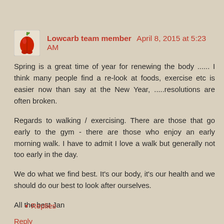Lowcarb team member  April 8, 2015 at 5:23 AM
Spring is a great time of year for renewing the body ...... I think many people find a re-look at foods, exercise etc is easier now than say at the New Year, .....resolutions are often broken.
Regards to walking / exercising. There are those that go early to the gym - there are those who enjoy an early morning walk. I have to admit I love a walk but generally not too early in the day.
We do what we find best. It's our body, it's our health and we should do our best to look after ourselves.
All the best Jan
Reply
Replies